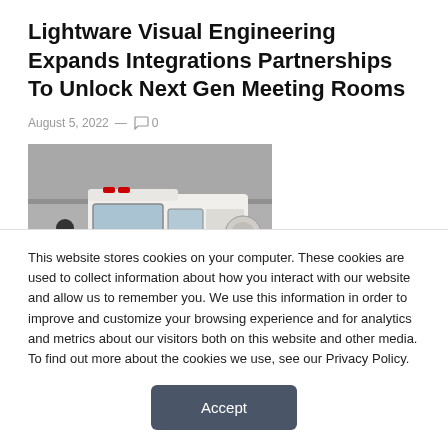Lightware Visual Engineering Expands Integrations Partnerships To Unlock Next Gen Meeting Rooms
August 5, 2022 — 0
[Figure (photo): Photo of a white fire truck with red and yellow stripe markings parked inside a large industrial or convention hall building. A person in dark clothing is visible near the front-left of the truck.]
This website stores cookies on your computer. These cookies are used to collect information about how you interact with our website and allow us to remember you. We use this information in order to improve and customize your browsing experience and for analytics and metrics about our visitors both on this website and other media. To find out more about the cookies we use, see our Privacy Policy.
Accept